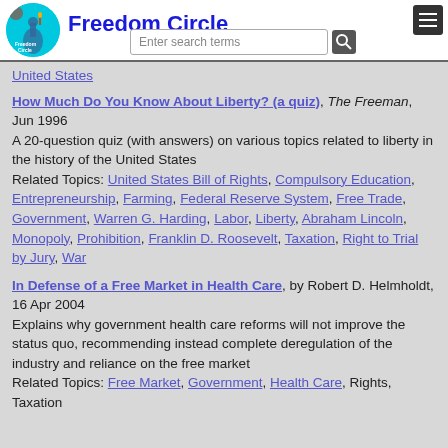Freedom Circle
United States
How Much Do You Know About Liberty? (a quiz), The Freeman, Jun 1996
A 20-question quiz (with answers) on various topics related to liberty in the history of the United States
Related Topics: United States Bill of Rights, Compulsory Education, Entrepreneurship, Farming, Federal Reserve System, Free Trade, Government, Warren G. Harding, Labor, Liberty, Abraham Lincoln, Monopoly, Prohibition, Franklin D. Roosevelt, Taxation, Right to Trial by Jury, War
In Defense of a Free Market in Health Care, by Robert D. Helmholdt, 16 Apr 2004
Explains why government health care reforms will not improve the status quo, recommending instead complete deregulation of the industry and reliance on the free market
Related Topics: Free Market, Government, Health Care, Rights, Taxation